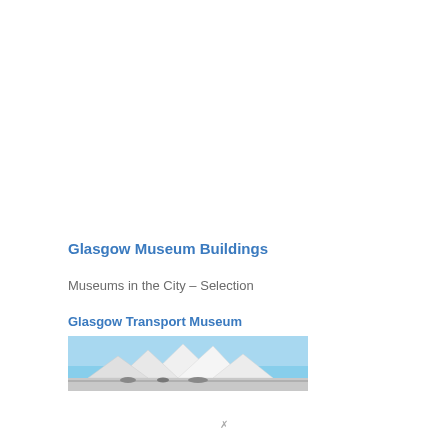Glasgow Museum Buildings
Museums in the City – Selection
Glasgow Transport Museum
[Figure (photo): Exterior photo of the Glasgow Transport Museum building, showing the modern angular white roof structure against a blue sky.]
x